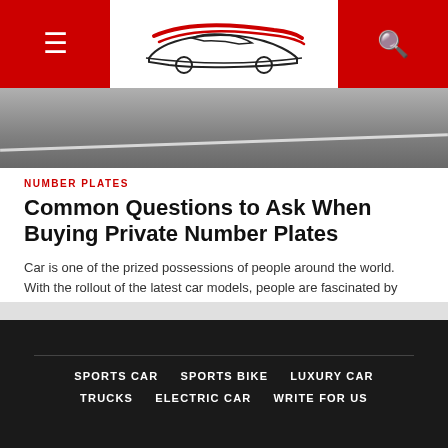Navigation header with hamburger menu, car logo, and search icon
[Figure (photo): Blurred road/asphalt hero image with white road line]
NUMBER PLATES
Common Questions to Ask When Buying Private Number Plates
Car is one of the prized possessions of people around the world. With the rollout of the latest car models, people are fascinated by them and want to possess...
SPORTS CAR   SPORTS BIKE   LUXURY CAR   TRUCKS   ELECTRIC CAR   WRITE FOR US